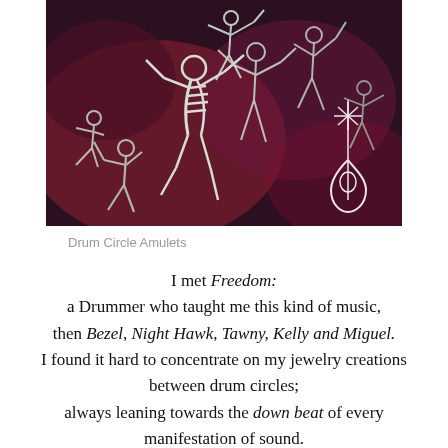[Figure (photo): Photo of metallic drum circle amulets — silver-toned figurines of dancing human forms against a dark red and purple painted background, with a decorative white symbol on the right side.]
Drum Circle Amulets
I met Freedom: a Drummer who taught me this kind of music, then Bezel, Night Hawk, Tawny, Kelly and Miguel. I found it hard to concentrate on my jewelry creations between drum circles; always leaning towards the down beat of every manifestation of sound.